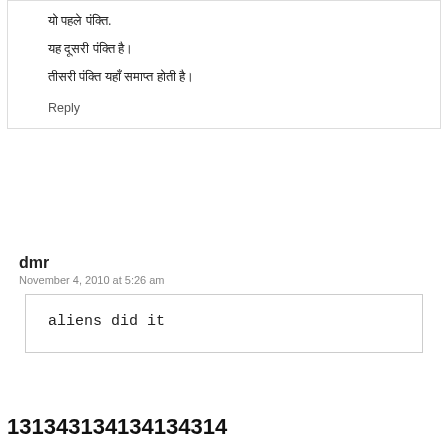यो पहले पंक्ति.
यह दूसरी पंक्ति है।
तीसरी पंक्ति यहाँ समाप्त होती है।
Reply
dmr
November 4, 2010 at 5:26 am
aliens did it
131343134134134314